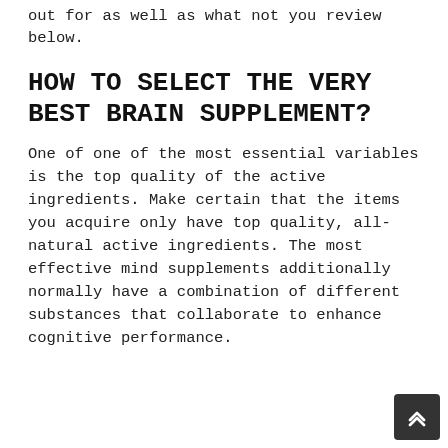out for as well as what not you review below.
HOW TO SELECT THE VERY BEST BRAIN SUPPLEMENT?
One of one of the most essential variables is the top quality of the active ingredients. Make certain that the items you acquire only have top quality, all-natural active ingredients. The most effective mind supplements additionally normally have a combination of different substances that collaborate to enhance cognitive performance.
One more point to watch out for is whether the supplement has actually gone through any scientific tests or clinical studies. This is an excellent way to